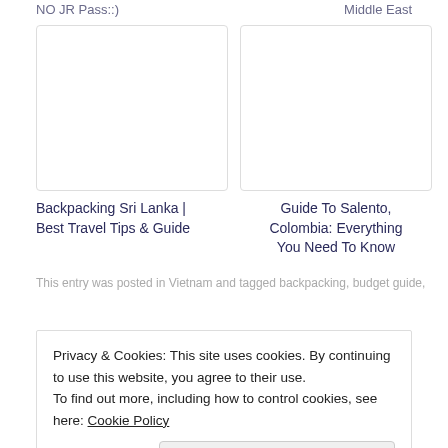NO JR Pass::)
Middle East
[Figure (photo): Blank white image placeholder for Backpacking Sri Lanka article]
Backpacking Sri Lanka | Best Travel Tips & Guide
[Figure (photo): Blank white image placeholder for Guide To Salento, Colombia article]
Guide To Salento, Colombia: Everything You Need To Know
This entry was posted in Vietnam and tagged backpacking, budget guide,
Privacy & Cookies: This site uses cookies. By continuing to use this website, you agree to their use.
To find out more, including how to control cookies, see here: Cookie Policy
Close and accept
adventure, waterfalls and everything